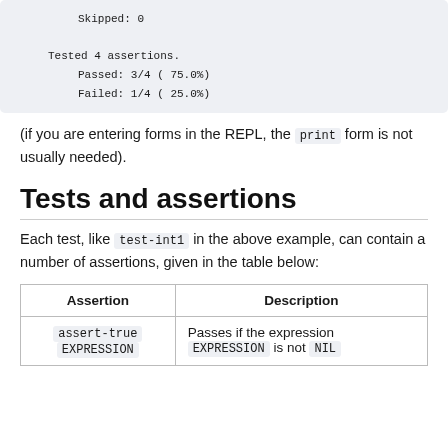Skipped: 0

Tested 4 assertions.
    Passed: 3/4 ( 75.0%)
    Failed: 1/4 ( 25.0%)
(if you are entering forms in the REPL, the print form is not usually needed).
Tests and assertions
Each test, like test-int1 in the above example, can contain a number of assertions, given in the table below:
| Assertion | Description |
| --- | --- |
| assert-true
EXPRESSION | Passes if the expression
EXPRESSION is not NIL |